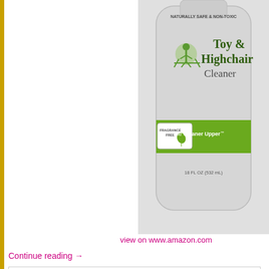[Figure (photo): Product photo of Toy & Highchair Cleaner bottle by The Cleaner Upper. Label reads: NATURALLY SAFE & NON-TOXIC, Toy & Highchair Cleaner, FRAGRANCE FREE, The Cleaner Upper, 18 FL OZ (532 mL). Light grey bottle with green accent label band.]
view on www.amazon.com
Continue reading →
Posted in health & home | Tagged cleaning, green products | Leave a